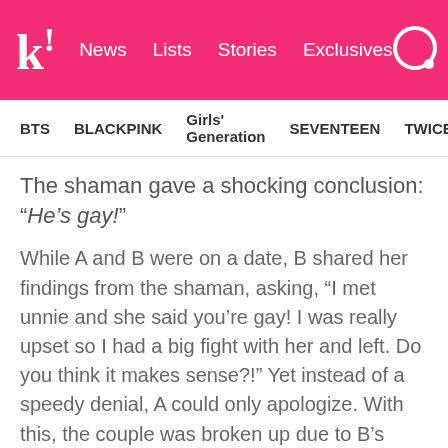k! News Lists Stories Exclusives
BTS  BLACKPINK  Girls' Generation  SEVENTEEN  TWICE
The shaman gave a shocking conclusion: “He’s gay!”
While A and B were on a date, B shared her findings from the shaman, asking, “I met unnie and she said you’re gay! I was really upset so I had a big fight with her and left. Do you think it makes sense?!” Yet instead of a speedy denial, A could only apologize. With this, the couple was broken up due to B’s frustration and shock.
Check out the retelling here:
[Figure (screenshot): Dark video thumbnail placeholder at bottom of page]